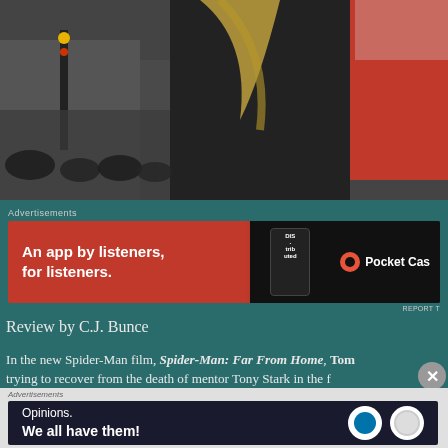[Figure (photo): Street scene photo showing people in dark winter clothing, city street with traffic lights in background, someone wearing a red jacket visible on right side]
Advertisements
[Figure (other): Advertisement banner: An app by listeners, for listeners. — Pocket Casts]
REPORT T
Review by C.J. Bunce
In the new Spider-Man film, Spider-Man: Far From Home, Tom trying to recover from the death of mentor Tony Stark in the f Endgame.  He's trying to take a break from literally saving the p summer trip with his classmates to Paris.  And he's trying to le he cares about her.  So it's too bad Samuel L. Jackson's Nick F
Advertisements
[Figure (other): Advertisement banner: Opinions. We all have them! WordPress/dot logo]